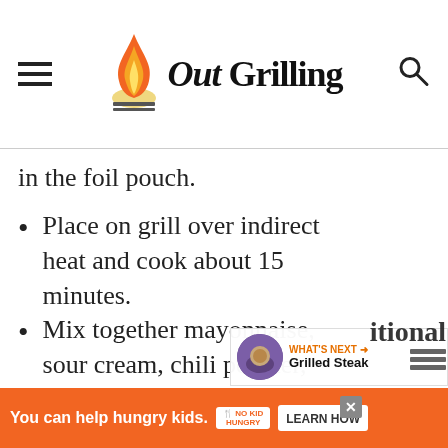Out Grilling
in the foil pouch.
Place on grill over indirect heat and cook about 15 minutes.
Mix together mayonnaise, sour cream, chili powder, garlic and chopped cilantro.
Remove corn from grill and brush sauce mixture over corn.
WHAT'S NEXT → Grilled Steak
You can help hungry kids. NO KID HUNGRY LEARN HOW